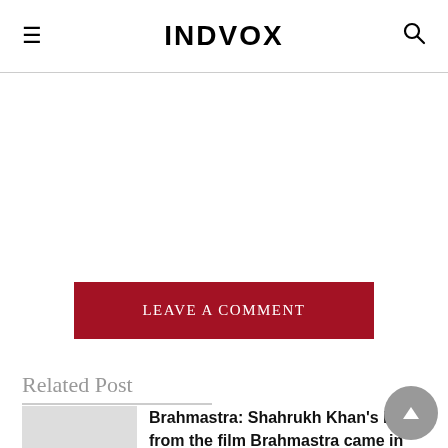INDVOX
LEAVE A COMMENT
Related Post
Brahmastra: Shahrukh Khan's look from the film Brahmastra came in front, was seen action